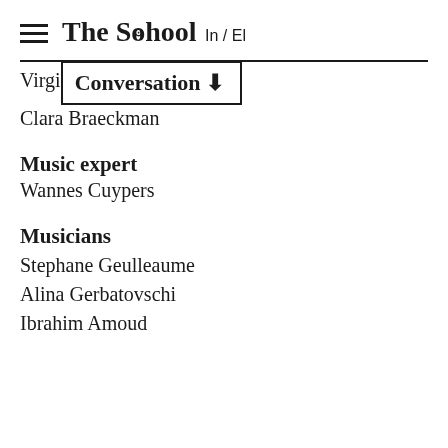The School In / El
Virgil... Conversation ↓
Clara Braeckman
Music expert
Wannes Cuypers
Musicians
Stephane Geulleaume
Alina Gerbatovschi
Ibrahim Amoud